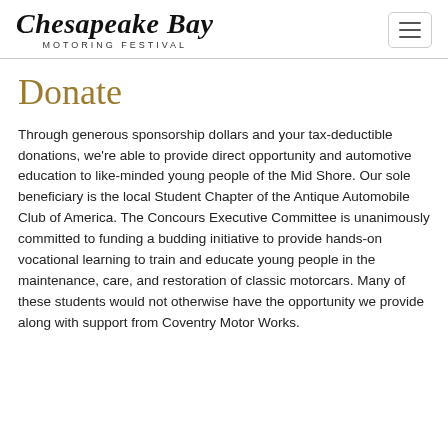Chesapeake Bay Motoring Festival
Donate
Through generous sponsorship dollars and your tax-deductible donations, we're able to provide direct opportunity and automotive education to like-minded young people of the Mid Shore. Our sole beneficiary is the local Student Chapter of the Antique Automobile Club of America. The Concours Executive Committee is unanimously committed to funding a budding initiative to provide hands-on vocational learning to train and educate young people in the maintenance, care, and restoration of classic motorcars. Many of these students would not otherwise have the opportunity we provide along with support from Coventry Motor Works.